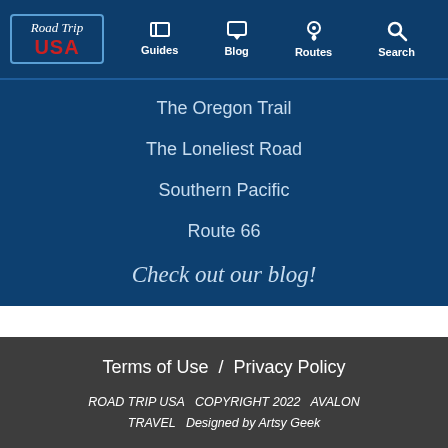Road Trip USA — Guides, Blog, Routes, Search
The Oregon Trail
The Loneliest Road
Southern Pacific
Route 66
Check out our blog!
Terms of Use  /  Privacy Policy
ROAD TRIP USA  COPYRIGHT 2022  AVALON TRAVEL  Designed by Artsy Geek